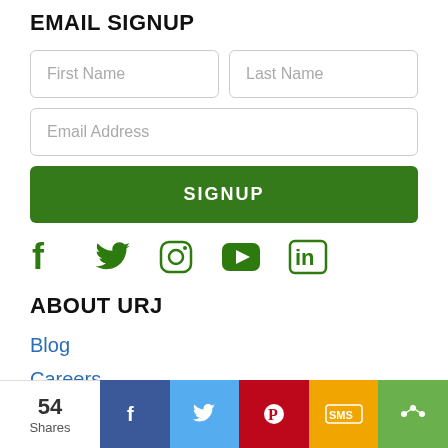EMAIL SIGNUP
[Figure (screenshot): Email signup form with First Name, Last Name, Email Address fields and a green SIGNUP button]
[Figure (infographic): Social media icons: Facebook, Twitter, Instagram, YouTube, LinkedIn in green]
ABOUT URJ
Blog
Careers
The Tent
Contact Us
[Figure (infographic): Social share bar: 54 Shares, Facebook, Twitter, Pinterest, SMS, Share icons]